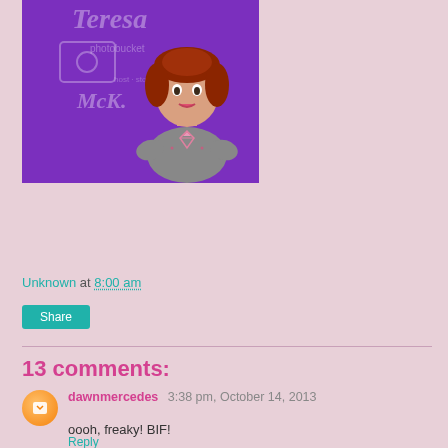[Figure (illustration): Cartoon illustration of a woman with red/brown hair wearing a grey shirt with a pink diamond heart design, on a purple background with 'Teresa McK.' text and photobucket logo]
Unknown at 8:00 am
Share
13 comments:
dawnmercedes  3:38 pm, October 14, 2013
oooh, freaky! BIF!
Reply
Sukie  3:13 am, October 15, 2013
That is such a super freaky looking zombie girl! Such a fun ...!! BIF...